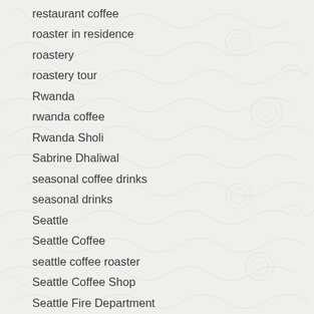restaurant coffee
roaster in residence
roastery
roastery tour
Rwanda
rwanda coffee
Rwanda Sholi
Sabrine Dhaliwal
seasonal coffee drinks
seasonal drinks
Seattle
Seattle Coffee
seattle coffee roaster
Seattle Coffee Shop
Seattle Fire Department
seattle jobs